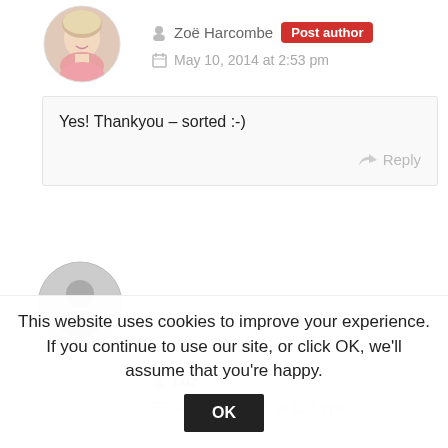[Figure (photo): Circular avatar photo of Zoë Harcombe, a blonde woman in a pink top]
Zoë Harcombe  Post author
May 10, 2014 at 2:53 pm
Yes! Thankyou – sorted :-)
Reply
[Figure (illustration): Gray default user avatar circle with person silhouette]
Luz
March 12. 2015 at 12:53 pm
This website uses cookies to improve your experience. If you continue to use our site, or click OK, we'll assume that you're happy.